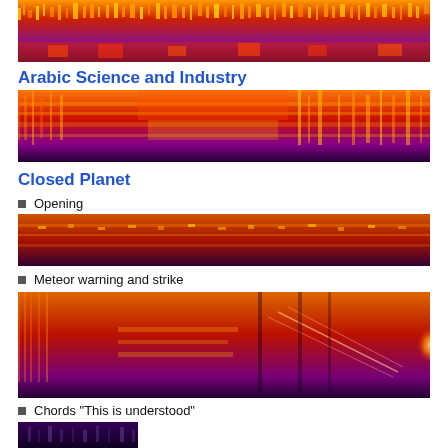[Figure (continuous-plot): Spectrogram visualization showing frequency content over time, colored from purple/blue (low intensity) through red/orange to yellow (high intensity). Dense vertical striations visible throughout.]
Arabic Science and Industry
[Figure (continuous-plot): Spectrogram for 'Arabic Science and Industry' audio segment. Orange and red tones dominate with horizontal banding patterns.]
Closed Planet
Opening
[Figure (continuous-plot): Spectrogram for 'Opening' audio segment. Predominantly dark red/orange with some yellow highlights, relatively uniform.]
Meteor warning and strike
[Figure (continuous-plot): Spectrogram for 'Meteor warning and strike' audio segment. Complex structure with diagonal lines, bright orange bloom on right side suggesting impact event.]
Chords "This is understood"
[Figure (continuous-plot): Partial spectrogram at bottom of page for 'Chords This is understood' audio segment. Deep purple/blue tones.]